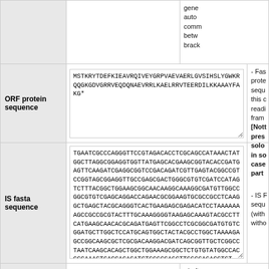| Label | Content | Description |
| --- | --- | --- |
|  |  | gene auto comm betw brack |
| ORF protein sequence | MSTKRYTDEFKIEAVRQIVEYGRPVAEVAERLGVSIHSLYGWKRQQGKGDVGRRVEQDQNAEVRRLKAELRRVTEERDILKKAAAYFAKG* | - Fas prote sequ this c readi fram [Nott pres solo in so case part |
| IS fasta sequence | TGAATCGCCCAGGGTTCCGTAGACACCTCGCAGCCATAAACTATGGCTTAGGCGGAGGTGGTTATGAGCACGAAGCGGTACACCGATGAGTTCAAGATCGAGGCGGTCCGACAGATCGTTGAGTACGGCCGTCCGGTAGCGGAGGTTGCCGAGCGACTGGGCGTGTCGATCCATAGTCTTTACGGCTGGAAGCGGCAACAAGGCAAAGGCGATGTTGGCCGGCGTGTCGAGCAGGACCAGAACGCGGAAGTGCGCCGCCTCAAGGCTGAGCTACGCAGGGTCACTGAAGAGCGAGACATCCTAAAAAAAGCCGCCGCGTACTTTGCAAAGGGGTAAGAGCAAAGTACGCCTTCATGAAGCAACACGCAGATGAGTTCGGCCTCGCGGCGATGTGTCGGATGCTTGGCTCCATGCAGTGGCTACTACGCCTGGCTAAAAGAGCCGGCAAGCGCTCGCGACAAGGACGATCAGCGGTTGCTCGGCCTAATCAAGCACAGCTGGCTGGAAAGCGGCTCTGTGTATGGCCACCGCAAAGTGACCACAGATCTGCGCGAGCTTGGCGAGACGTGT | - IS F sequ (with witho |
|  |  | - Left |